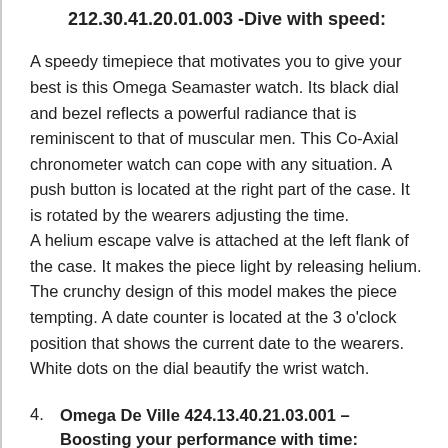212.30.41.20.01.003 -Dive with speed:
A speedy timepiece that motivates you to give your best is this Omega Seamaster watch. Its black dial and bezel reflects a powerful radiance that is reminiscent to that of muscular men. This Co-Axial chronometer watch can cope with any situation. A push button is located at the right part of the case. It is rotated by the wearers adjusting the time. A helium escape valve is attached at the left flank of the case. It makes the piece light by releasing helium. The crunchy design of this model makes the piece tempting. A date counter is located at the 3 o'clock position that shows the current date to the wearers. White dots on the dial beautify the wrist watch.
4. Omega De Ville 424.13.40.21.03.001 – Boosting your performance with time:
An icon in keeping time, this Omega De Ville watch is made for the powerful and performing men. This 40mm